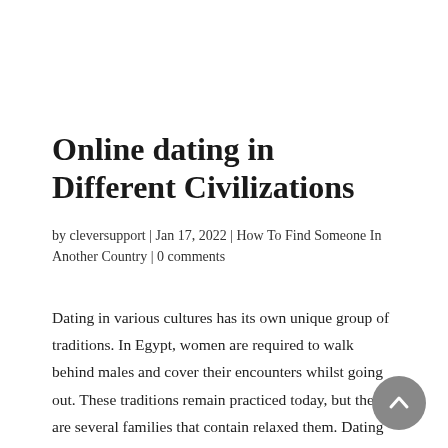Online dating in Different Civilizations
by cleversupport | Jan 17, 2022 | How To Find Someone In Another Country | 0 comments
Dating in various cultures has its own unique group of traditions. In Egypt, women are required to walk behind males and cover their encounters whilst going out. These traditions remain practiced today, but there are several families that contain relaxed them. Dating tactics vary generally between east and western world cultures,